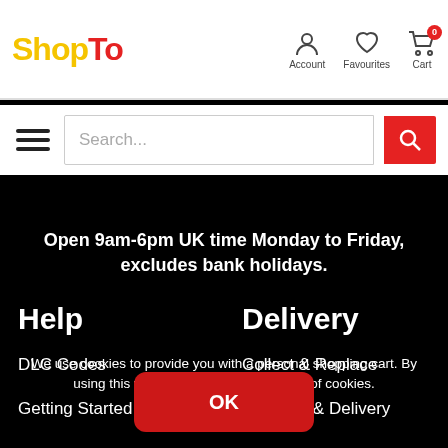[Figure (logo): ShopTo logo with 'Shop' in yellow and 'To' in red]
[Figure (infographic): Navigation icons: Account (person icon), Favourites (heart icon), Cart (shopping cart with badge 0)]
[Figure (infographic): Hamburger menu icon (three horizontal lines) and search bar with red search button]
Open 9am-6pm UK time Monday to Friday, excludes bank holidays.
Help
Delivery
DLC Codes
Collect & Replace
Getting Started
Dispatch & Delivery
We use cookies to provide you with a personal shopping cart. By using this website you agree to the use of cookies.
OK